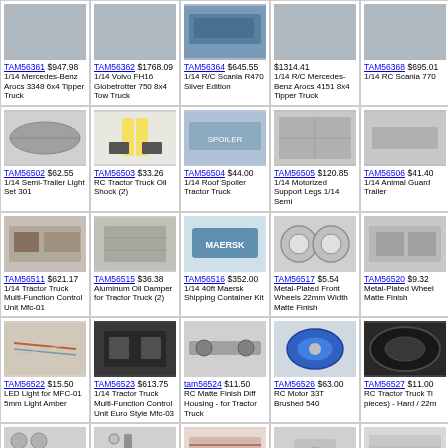| TAM56361 $947.98 1/14 Mercedes-Benz Arocs 3348 6x4 Tipper Truck | TAM56362 $1768.09 1/14 Volvo FH16 Globetrotter 750 8x4 Tow Truck | TAM56364 $645.55 1/14 R/C Scania R470 Silver Edition | $1314.41 1/14 R/C Mercedes-Benz Arocs 4151 8x4 Tipper Truck | TAM56368 $695.01 1/14 RC Scania 770 |
| TAM56502 $62.55 1/14 Semi-Trailer Light Set 301 | TAM56503 $33.26 RC Tractor Truck Oil Shock (2) | TAM56504 $44.00 1/14 Roof Spoiler Tractor Truck | TAM56505 $120.85 1/14 Motorized Support Legs 1/14 Semi | TAM56506 $41.40 1/14 Animal Guard Trailer |
| TAM56511 $621.17 1/14 Tractor Truck Multi-Function Control Unit Mfc-01 | TAM56515 $36.38 Aluminum Oil Damper for Tractor Truck (2) | TAM56516 $352.00 1/14 40ft Maersk Shipping Container Kit | TAM56517 $5.54 Metal-Plated Front Wheels 22mm Width Matte Finish | TAM56520 $9.32 Metal-Plated Wheel Matte Finish |
| TAM56522 $15.50 LED Light for MFC-01 5mm Light Amber | TAM56523 $613.75 1/14 Tractor Truck Multi-Function Control Unit Euro Style Mfc-03 | tam56524 $11.50 RC Matte Finish Diff Housing - for Tractor Truck | TAM56526 $63.00 RC Motor 33T Brushed 540 | TAM56527 $11.00 RC Tractor Truck Ti pieces) - Hard / 22m |
| TAM56530 $60.00 Rein Joint Cup/Bevel | TAM56531 $36.00 RC Aluminum Shift | TAM56534 $20.78 Sticker Set 1/14 | TAM56535 $29.00 Aluminum Coupler | TAM56536 $8.49 RC Driver Fig |